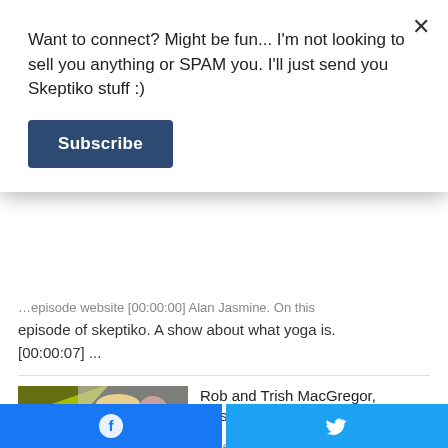Want to connect? Might be fun... I'm not looking to sell you anything or SPAM you. I'll just send you Skeptiko stuff :)
Subscribe
episode of skeptiko. A show about what yoga is.
[00:00:07] ...
[Figure (photo): Podcast cover image showing two people (man in hat and woman) with Skeptiko science & spirituality logo and MYSTICAL text overlay]
Rob and Trish MacGregor, Mystical Underground |558|
June 28, 2022
[Figure (other): Facebook share button (blue)]
[Figure (other): Twitter share button (blue)]